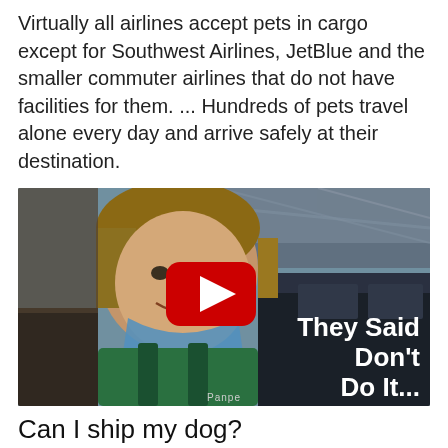Virtually all airlines accept pets in cargo except for Southwest Airlines, JetBlue and the smaller commuter airlines that do not have facilities for them. ... Hundreds of pets travel alone every day and arrive safely at their destination.
[Figure (screenshot): YouTube video thumbnail showing a man with a blue face mask pulled down, smiling at the camera in what appears to be a transit station. A red YouTube play button is overlaid in the center. Text on the right reads 'They Said Don't Do It...' in bold white font.]
Can I ship my dog?